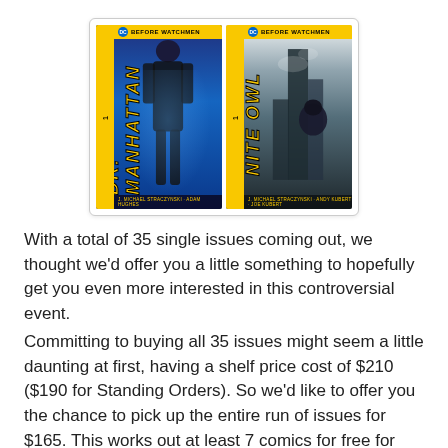[Figure (illustration): Two comic book covers side by side: 'Before Watchmen: Dr. Manhattan' on the left with a blue color scheme and yellow title text, and 'Before Watchmen: Nite Owl' on the right with a darker color scheme and yellow title text. Both have the DC Comics logo and 'Before Watchmen' header.]
With a total of 35 single issues coming out, we thought we'd offer you a little something to hopefully get you even more interested in this controversial event.
Committing to buying all 35 issues might seem a little daunting at first, having a shelf price cost of $210 ($190 for Standing Orders). So we'd like to offer you the chance to pick up the entire run of issues for $165. This works out at least 7 comics for free for shelf customers and 4 for free for